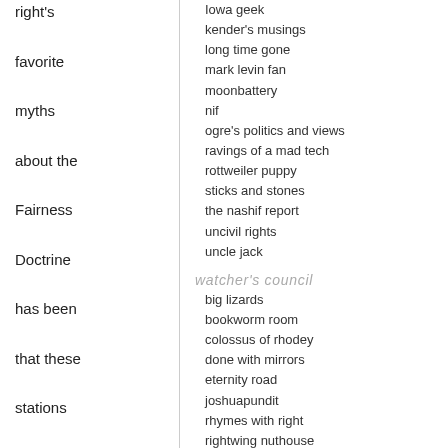right's

favorite

myths

about the

Fairness

Doctrine

has been

that these

stations

failed

because

no one

wanted to

listen, as

in this Fox report

(video
Iowa geek
kender's musings
long time gone
mark levin fan
moonbattery
nif
ogre's politics and views
ravings of a mad tech
rottweiler puppy
sticks and stones
the nashif report
uncivil rights
uncle jack
watcher's council
big lizards
bookworm room
colossus of rhodey
done with mirrors
eternity road
joshuapundit
rhymes with right
rightwing nuthouse
soccer dad
the education wonks
the glittering eye
the sundries shack
watcher of weasels
categories:
"24"
able danger